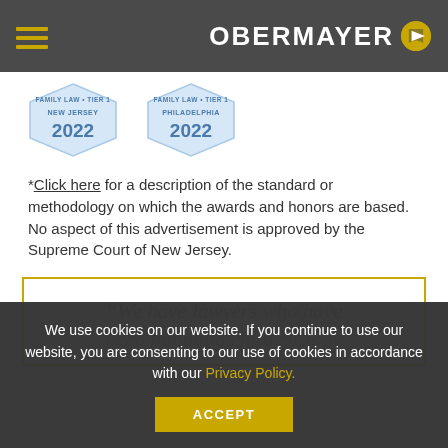OBERMAYER
[Figure (illustration): Two blue pentagon/shield award badges for Family Law • Tier 1, New Jersey 2022 and Family Law • Tier 1, Philadelphia 2022]
*Click here for a description of the standard or methodology on which the awards and honors are based. No aspect of this advertisement is approved by the Supreme Court of New Jersey.
“We have lawyers who have been handling child custody
We use cookies on our website. If you continue to use our website, you are consenting to our use of cookies in accordance with our Privacy Policy.